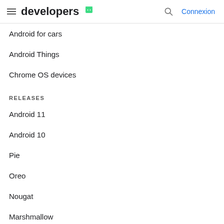developers | Connexion
Android for cars
Android Things
Chrome OS devices
RELEASES
Android 11
Android 10
Pie
Oreo
Nougat
Marshmallow
Lollipop
KitKat